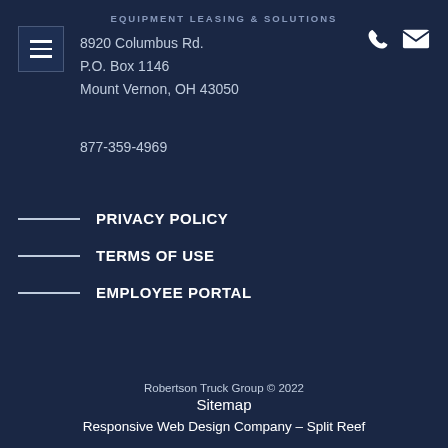EQUIPMENT LEASING & SOLUTIONS
8920 Columbus Rd.
P.O. Box 1146
Mount Vernon, OH 43050
877-359-4969
PRIVACY POLICY
TERMS OF USE
EMPLOYEE PORTAL
Robertson Truck Group © 2022
Sitemap
Responsive Web Design Company – Split Reef